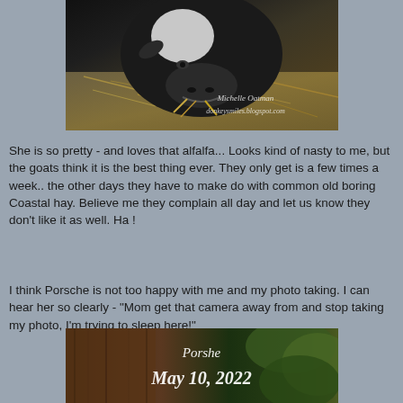[Figure (photo): Close-up photo of a black and white goat eating alfalfa hay, with watermark text 'Michelle Oatman' and 'donkeysmiles.blogspot.com']
She is so pretty - and loves that alfalfa... Looks kind of nasty to me, but the goats think it is the best thing ever. They only get is a few times a week.. the other days they have to make do with common old boring Coastal hay. Believe me they complain all day and let us know they don't like it as well. Ha !
I think Porsche is not too happy with me and my photo taking. I can hear her so clearly - "Mom get that camera away from and stop taking my photo, I'm trying to sleep here!"
[Figure (photo): Partial photo of a goat named Porshe, dated May 10, 2022, with text overlay showing name and date]